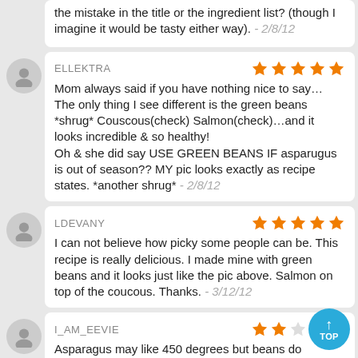the mistake in the title or the ingredient list? (though I imagine it would be tasty either way). - 2/8/12
ELLEKTRA — 5 stars
Mom always said if you have nothing nice to say… The only thing I see different is the green beans *shrug* Couscous(check) Salmon(check)…and it looks incredible & so healthy!
Oh & she did say USE GREEN BEANS IF asparugus is out of season?? MY pic looks exactly as recipe states. *another shrug* - 2/8/12
LDEVANY — 5 stars
I can not believe how picky some people can be. This recipe is really delicious. I made mine with green beans and it looks just like the pic above. Salmon on top of the coucous. Thanks. - 3/12/12
I_AM_EEVIE — 2 stars
Asparagus may like 450 degrees but beans do